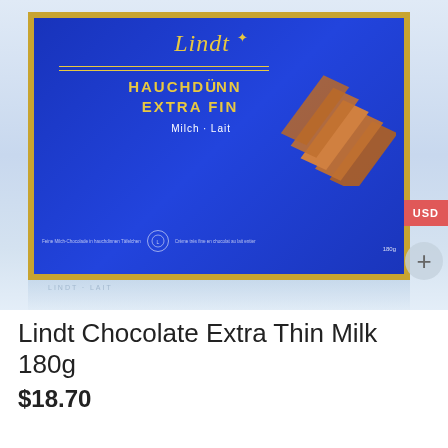[Figure (photo): Lindt chocolate box with blue label reading HAUCHDÜNN EXTRA FIN, Milch·Lait, showing stacked chocolate wafer pieces, with reflection below. USD currency badge and plus button visible on right edge.]
Lindt Chocolate Extra Thin Milk 180g
$18.70